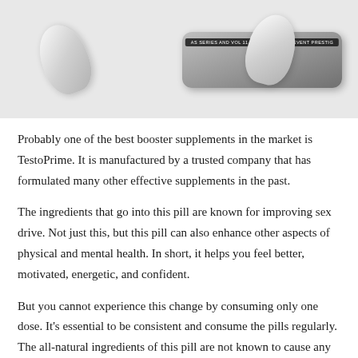[Figure (photo): Photo of wireless earbuds (left earbud visible) beside a metallic charging case with a label strip on top, against a light gray background.]
Probably one of the best booster supplements in the market is TestoPrime. It is manufactured by a trusted company that has formulated many other effective supplements in the past.
The ingredients that go into this pill are known for improving sex drive. Not just this, but this pill can also enhance other aspects of physical and mental health. In short, it helps you feel better, motivated, energetic, and confident.
But you cannot experience this change by consuming only one dose. It's essential to be consistent and consume the pills regularly. The all-natural ingredients of this pill are not known to cause any kind of